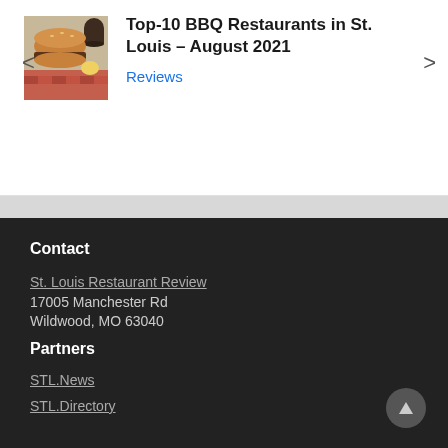[Figure (photo): BBQ burger/sandwich with sides on a red checkered surface, with a dark cup in the background]
Top-10 BBQ Restaurants in St. Louis – August 2021
Reviews
Contact
St. Louis Restaurant Review
17005 Manchester Rd
Wildwood, MO 63040
Phone: +1 314-808-1870
Email: Marty@STLMedia.Agency
Partners
STL.News
STL.Directory